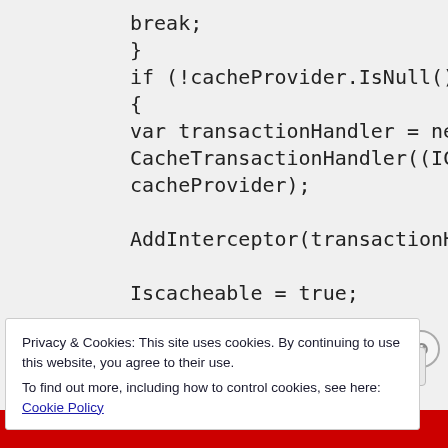break;
}
if (!cacheProvider.IsNull())
{
  var transactionHandler = new CacheTransactionHandler((ICache) cacheProvider);

  AddInterceptor(transactionHandler);

  Iscacheable = true;
Privacy & Cookies: This site uses cookies. By continuing to use this website, you agree to their use.
To find out more, including how to control cookies, see here: Cookie Policy